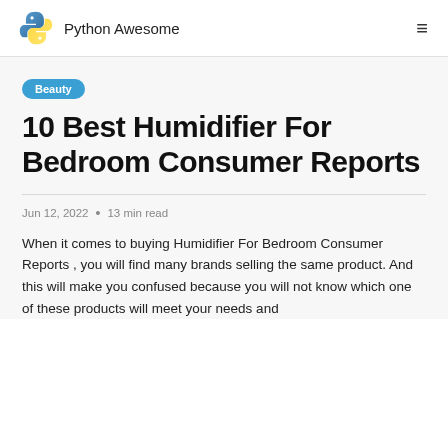Python Awesome
Beauty
10 Best Humidifier For Bedroom Consumer Reports
Jun 12, 2022 • 13 min read
When it comes to buying Humidifier For Bedroom Consumer Reports , you will find many brands selling the same product. And this will make you confused because you will not know which one of these products will meet your needs and